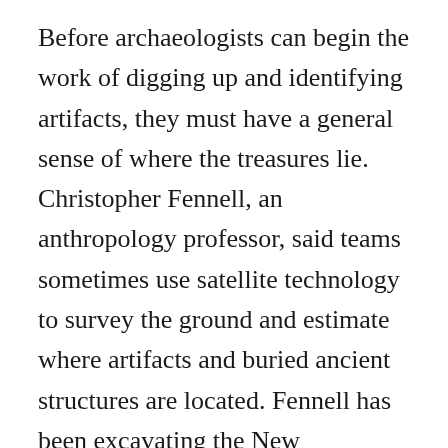Before archaeologists can begin the work of digging up and identifying artifacts, they must have a general sense of where the treasures lie. Christopher Fennell, an anthropology professor, said teams sometimes use satellite technology to survey the ground and estimate where artifacts and buried ancient structures are located. Fennell has been excavating the New Philadelphia site in southern Illinois, the earliest all-black town incorporated under a legal regime by a freed slave. The team used archived town plans of New Philadelphia to map out where to dig. Archaeologists conduct their work not only in fields and forests, using spades to unearth artifacts; they also explore caves and lakes.